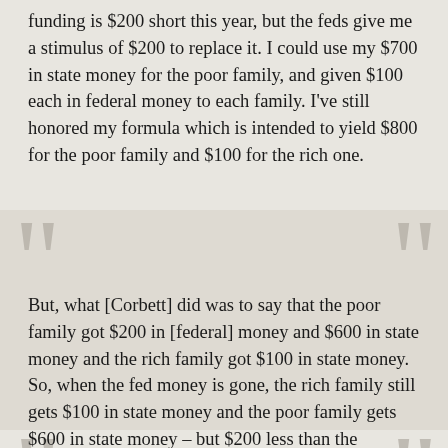funding is $200 short this year, but the feds give me a stimulus of $200 to replace it. I could use my $700 in state money for the poor family, and given $100 each in federal money to each family. I've still honored my formula which is intended to yield $800 for the poor family and $100 for the rich one.
But, what [Corbett] did was to say that the poor family got $200 in [federal] money and $600 in state money and the rich family got $100 in state money. So, when the fed money is gone, the rich family still gets $100 in state money and the poor family gets $600 in state money – but $200 less than the previous year.